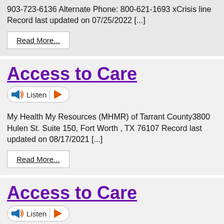903-723-6136 Alternate Phone: 800-621-1693 xCrisis line Record last updated on 07/25/2022 [...]
Read More...
Access to Care
[Figure (other): Listen button with speaker icon and orange play arrow]
My Health My Resources (MHMR) of Tarrant County3800 Hulen St. Suite 150, Fort Worth , TX 76107 Record last updated on 08/17/2021 [...]
Read More...
Access to Care
[Figure (other): Listen button with speaker icon and orange play arrow]
My Health My Resources (MHMR) of Tarrant County3800 Hulen Street Suite 150, Fort Worth , TX 76107Phone: 817-335-3000, ICARE Call Center Alternate Phone: 800-800-...